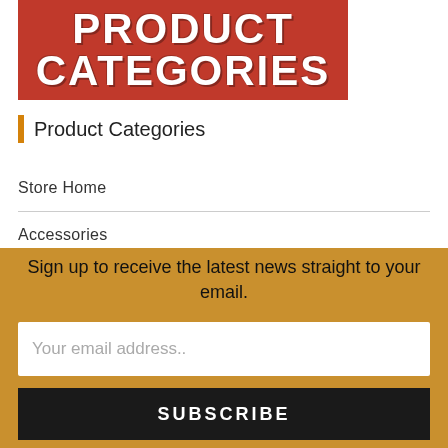[Figure (logo): Red distressed banner graphic with white bold text reading PRODUCT CATEGORIES]
Product Categories
Store Home
Accessories
Ammunition
Birchwood Casey
Sign up to receive the latest news straight to your email.
Your email address..
SUBSCRIBE